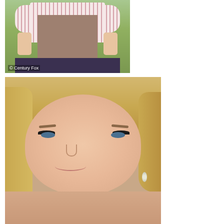[Figure (photo): Woman wearing a pink and white striped blouse with puffy short sleeves and a taupe/brown dirndl-style apron over a dark skirt, photographed from the torso. Watermark reads '© Century Fox'.]
[Figure (photo): Close-up portrait of a blonde woman with blue eyes, heavy eye makeup, dangling pearl earrings, smiling warmly. She has wavy shoulder-length blonde hair.]